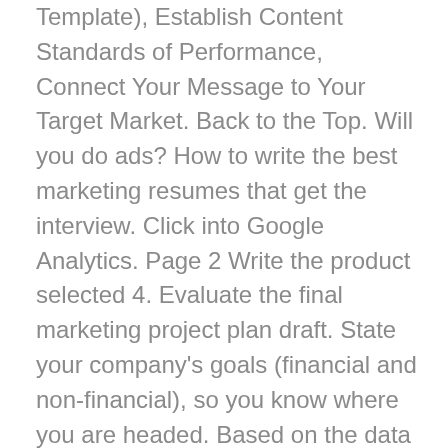Template), Establish Content Standards of Performance, Connect Your Message to Your Target Market. Back to the Top. Will you do ads? How to write the best marketing resumes that get the interview. Click into Google Analytics. Page 2 Write the product selected 4. Evaluate the final marketing project plan draft. State your company's goals (financial and non-financial), so you know where you are headed. Based on the data provided, you initiate the project realization run-up or further discussion on the details. I have an extremely strong sense of teamwork that allows me to connect with all of my employees and make sure that everything goes off as scheduled. It benefits from sophisticated marketing tools that further develop projects. } Project stage: Aim of Marketing: Examples: Concept • Win support for the initial project concept • Obtain political and public support • Gain the interest of a